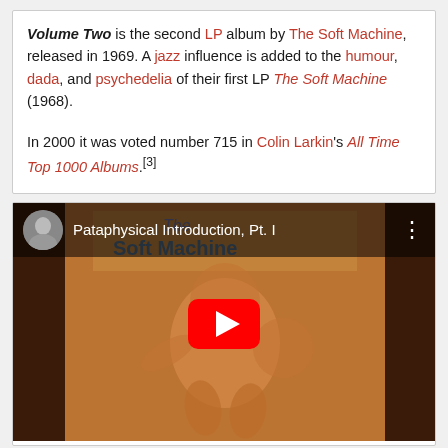Volume Two is the second LP album by The Soft Machine, released in 1969. A jazz influence is added to the humour, dada, and psychedelia of their first LP The Soft Machine (1968).

In 2000 it was voted number 715 in Colin Larkin's All Time Top 1000 Albums.[3]
[Figure (screenshot): YouTube video embed showing 'Pataphysical Introduction, Pt. I' with album artwork thumbnail of The Soft Machine, featuring a play button overlay and channel icon.]